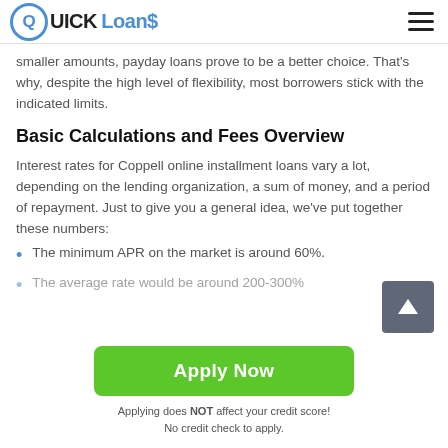QUICK Loans
smaller amounts, payday loans prove to be a better choice. That's why, despite the high level of flexibility, most borrowers stick with the indicated limits.
Basic Calculations and Fees Overview
Interest rates for Coppell online installment loans vary a lot, depending on the lending organization, a sum of money, and a period of repayment. Just to give you a general idea, we've put together these numbers:
The minimum APR on the market is around 60%.
The average rate would be around 200-300%
Apply Now
Applying does NOT affect your credit score!
No credit check to apply.